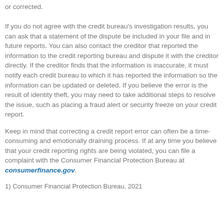or corrected. If you do not agree with the credit bureau's investigation results, you can ask that a statement of the dispute be included in your file and in future reports. You can also contact the creditor that reported the information to the credit reporting bureau and dispute it with the creditor directly. If the creditor finds that the information is inaccurate, it must notify each credit bureau to which it has reported the information so the information can be updated or deleted. If you believe the error is the result of identity theft, you may need to take additional steps to resolve the issue, such as placing a fraud alert or security freeze on your credit report.
Keep in mind that correcting a credit report error can often be a time-consuming and emotionally draining process. If at any time you believe that your credit reporting rights are being violated, you can file a complaint with the Consumer Financial Protection Bureau at consumerfinance.gov.
1) Consumer Financial Protection Bureau, 2021